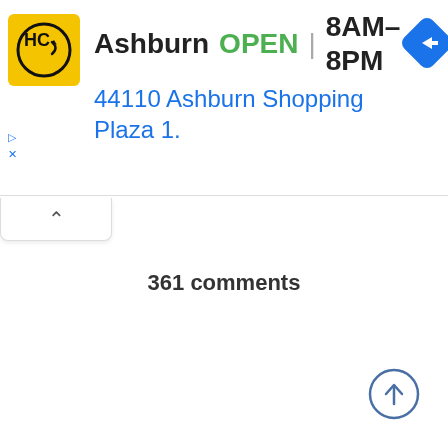[Figure (screenshot): Banner advertisement for Haircut company in Ashburn. Shows logo (HC in yellow box), store name 'Ashburn', status 'OPEN', hours '8AM-8PM', address '44110 Ashburn Shopping Plaza 1.', and a blue navigation/directions diamond icon.]
361 comments
[Figure (other): Circular scroll-to-top button with upward arrow icon in blue outline style]